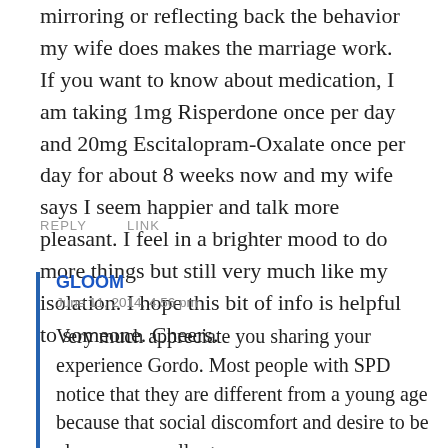mirroring or reflecting back the behavior my wife does makes the marriage work. If you want to know about medication, I am taking 1mg Risperdone once per day and 20mg Escitalopram-Oxalate once per day for about 8 weeks now and my wife says I seem happier and talk more pleasant. I feel in a brighter mood to do more things but still very much like my isolation. I hope this bit of info is helpful to someone. Cheers.
REPLY    LINK
GLOOM
June 11, 2014, 4:56 pm
Very much appreciate you sharing your experience Gordo. Most people with SPD notice that they are different from a young age because that social discomfort and desire to be alone never really goes